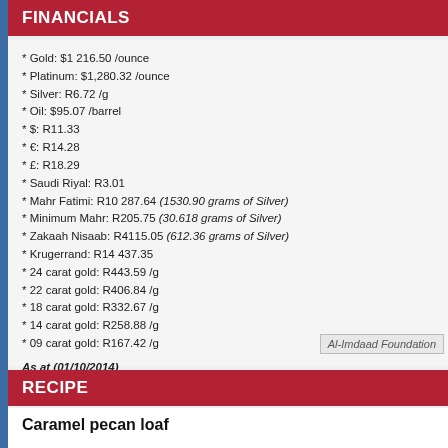FINANCIALS
* Gold: $1 216.50 /ounce
* Platinum: $1,280.32 /ounce
* Silver: R6.72 /g
* Oil: $95.07 /barrel
* $: R11.33
* €: R14.28
* £: R18.29
* Saudi Riyal: R3.01
* Mahr Fatimi: R10 287.64 (1530.90 grams of Silver)
* Minimum Mahr: R205.75 (30.618 grams of Silver)
* Zakaah Nisaab: R4115.05 (612.36 grams of Silver)
* Krugerrand: R14 437.35
* 24 carat gold: R443.59 /g
* 22 carat gold: R406.84 /g
* 18 carat gold: R332.67 /g
* 14 carat gold: R258.88 /g
* 09 carat gold: R167.42 /g
As at (01/10/2014)
[Figure (logo): Al-Imdaad Foundation logo]
RECIPE
Caramel pecan loaf